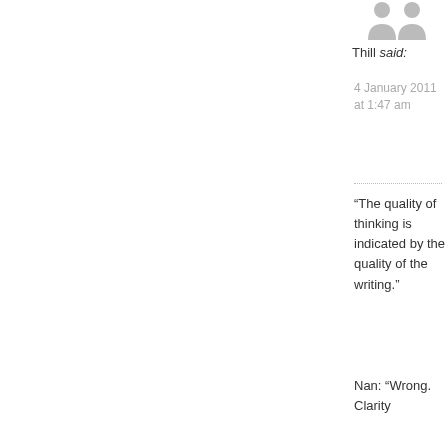[Figure (illustration): User avatar silhouette icon, grey person placeholder]
Thill said:
4 January 2011 at 1:47 am
“The quality of thinking is indicated by the quality of the writing.”
Nan: “Wrong. Clarity